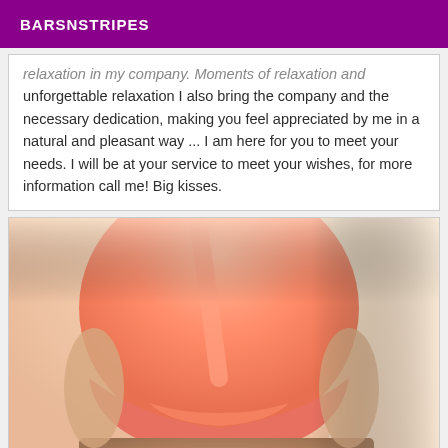BARSNSTRIPES
relaxation in my company. Moments of relaxation and unforgettable relaxation I also bring the company and the necessary dedication, making you feel appreciated by me in a natural and pleasant way ... I am here for you to meet your needs. I will be at your service to meet your wishes, for more information call me! Big kisses.
[Figure (photo): Close-up photo of a person wearing a peach/salmon colored top and beige/tan textured bottom clothing, cropped to show torso area only.]